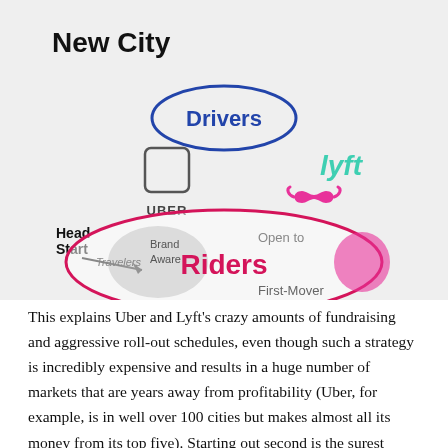[Figure (infographic): Whiteboard-style diagram titled 'New City' showing Uber and Lyft competition for Drivers and Riders. 'Drivers' in a blue oval at top center. Uber logo (square bracket icon + UBER text) on the left, Lyft logo (teal text + pink mustache) on the right. A large pink oval in the center labeled 'Riders' in red/pink, with notes: 'Open to', 'First-Mover', 'Brand Aware', 'Travelers'. An arrow labeled 'Head Start' points down-right toward the oval.]
This explains Uber and Lyft's crazy amounts of fundraising and aggressive roll-out schedules, even though such a strategy is incredibly expensive and results in a huge number of markets that are years away from profitability (Uber, for example, is in well over 100 cities but makes almost all its money from its top five). Starting out second is the surest